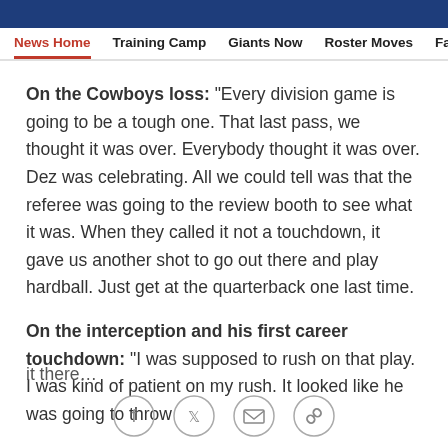Navigation bar: News Home | Training Camp | Giants Now | Roster Moves | Fact o
On the Cowboys loss: "Every division game is going to be a tough one.  That last pass, we thought it was over.  Everybody thought it was over.  Dez was celebrating.  All we could tell was that the referee was going to the review booth to see what it was.  When they called it not a touchdown, it gave us another shot to go out there and play hardball.  Just get at the quarterback one last time.
On the interception and his first career touchdown: "I was supposed to rush on that play.  I was kind of patient on my rush.  It looked like he was going to throw it there…